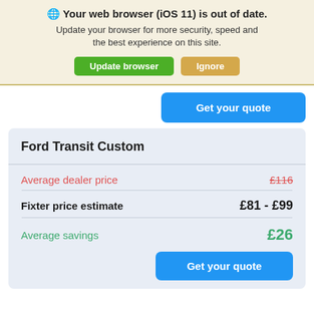🌐 Your web browser (iOS 11) is out of date.
Update your browser for more security, speed and the best experience on this site.
Update browser | Ignore
Get your quote
Ford Transit Custom
Average dealer price  £116
Fixter price estimate  £81 - £99
Average savings  £26
Get your quote